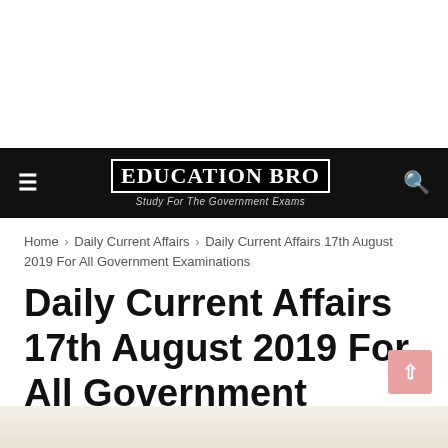Education Bro — Study For The Government Exams
Home › Daily Current Affairs › Daily Current Affairs 17th August 2019 For All Government Examinations
Daily Current Affairs 17th August 2019 For All Government Examinations
EducationBro   August 19, 2019